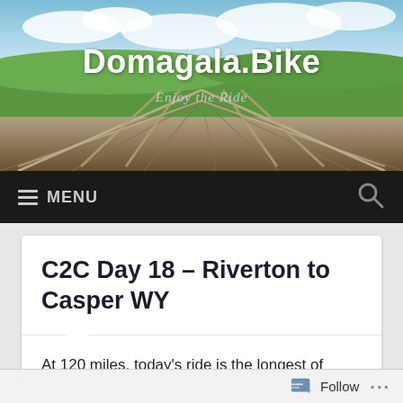[Figure (photo): Panoramic landscape photo showing a wooden bridge/boardwalk path leading to a distant horizon with green fields and blue sky with clouds. Used as website header background image.]
Domagala.Bike
Enjoy the Ride
≡ MENU
C2C Day 18 – Riverton to Casper WY
At 120 miles, today's ride is the longest of